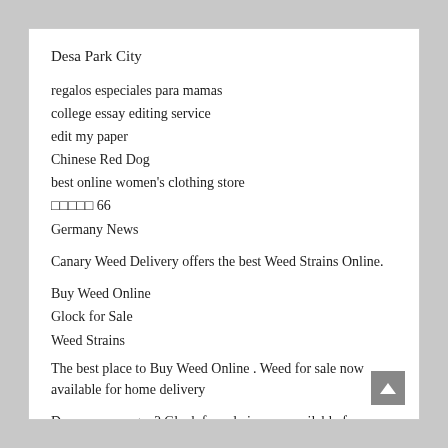Desa Park City
regalos especiales para mamas
college essay editing service
edit my paper
Chinese Red Dog
best online women's clothing store
□□□□□ 66
Germany News
Canary Weed Delivery offers the best Weed Strains Online.
Buy Weed Online
Glock for Sale
Weed Strains
The best place to Buy Weed Online . Weed for sale now available for home delivery
Do you own a gun? Glock for sale ie now available for purchase securely